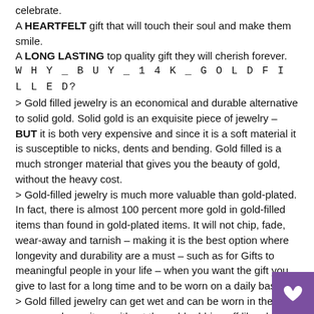celebrate.
A HEARTFELT gift that will touch their soul and make them smile.
A LONG LASTING top quality gift they will cherish forever.
W H Y _ B U Y _ 1 4 K _ G O L D F I L L E D?
> Gold filled jewelry is an economical and durable alternative to solid gold. Solid gold is an exquisite piece of jewelry – BUT it is both very expensive and since it is a soft material it is susceptible to nicks, dents and bending. Gold filled is a much stronger material that gives you the beauty of gold, without the heavy cost.
> Gold-filled jewelry is much more valuable than gold-plated. In fact, there is almost 100 percent more gold in gold-filled items than found in gold-plated items. It will not chip, fade, wear-away and tarnish – making it is the best option where longevity and durability are a must – such as for Gifts to meaningful people in your life – when you want the gift you give to last for a long time and to be worn on a daily basis.
> Gold filled jewelry can get wet and can be worn in the sho- you can leave it on without the gold rubbing off like plated